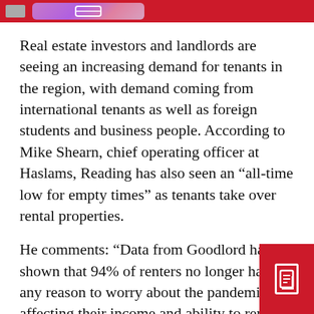Real estate investors and landlords are seeing an increasing demand for tenants in the region, with demand coming from international tenants as well as foreign students and business people. According to Mike Shearn, chief operating officer at Haslams, Reading has also seen an “all-time low for empty times” as tenants take over rental properties.
He comments: “Data from Goodlord has shown that 94% of renters no longer have any reason to worry about the pandemic affecting their income and ability to rent a home, which follows high levels of activity on the market, “added Shearn.
“In terms of rental values, the last three months have seen a 5% increase caused by the lack of s and the upsurge in the number of international